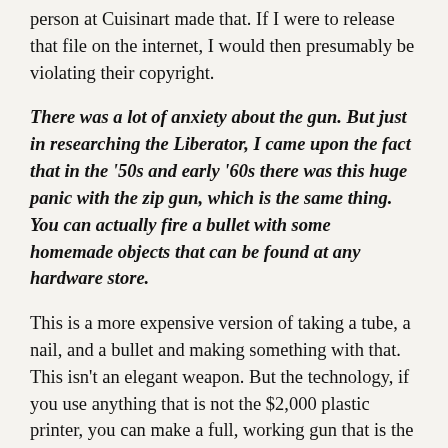person at Cuisinart made that. If I were to release that file on the internet, I would then presumably be violating their copyright.
There was a lot of anxiety about the gun. But just in researching the Liberator, I came upon the fact that in the '50s and early '60s there was this huge panic with the zip gun, which is the same thing. You can actually fire a bullet with some homemade objects that can be found at any hardware store.
This is a more expensive version of taking a tube, a nail, and a bullet and making something with that. This isn't an elegant weapon. But the technology, if you use anything that is not the $2,000 plastic printer, you can make a full, working gun that is the same as the one you'd purchase. There is some concern, also, with the idea that while you can maybe stop the trade or sale of firearms or particular